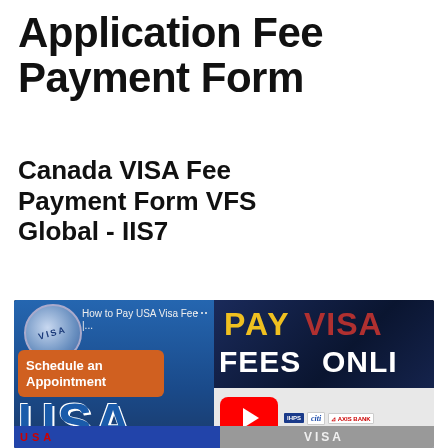Application Fee Payment Form
Canada VISA Fee Payment Form VFS Global - IIS7
[Figure (screenshot): Video thumbnail collage showing 'How to Pay USA Visa Fee' YouTube video, 'Schedule an Appointment' button, 'PAY VISA FEES ONLINE' text over USA flag background, YouTube play button, and bank logos including IHPS, Citi, and Axis Bank.]